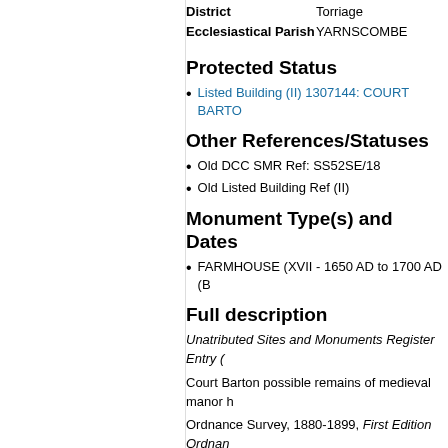District  Torriage
Ecclesiastical Parish  YARNSCOMBE
Protected Status
Listed Building (II) 1307144: COURT BARTO...
Other References/Statuses
Old DCC SMR Ref: SS52SE/18
Old Listed Building Ref (II)
Monument Type(s) and Dates
FARMHOUSE (XVII - 1650 AD to 1700 AD (B...
Full description
Unatributed Sites and Monuments Register Entry (...
Court Barton possible remains of medieval manor h...
Ordnance Survey, 1880-1899, First Edition Ordnan... 'Court Barton On the Remains of a Manor House' s...
Department of Environment, 1959, Torrington RD R... SDV118.
Sixteenth or 17th century. Symmetrical facade, hipp...
Ordnance Survey Archaeology Division, 1963 - 198...